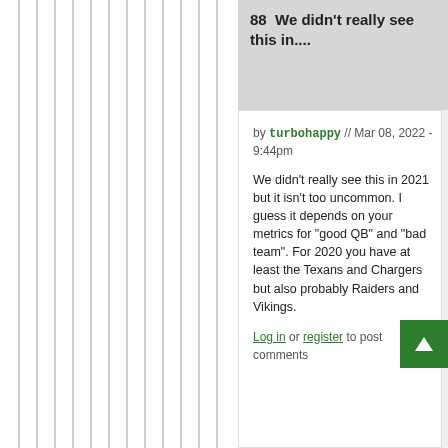88  We didn't really see this in....
by turbohappy // Mar 08, 2022 - 9:44pm
We didn't really see this in 2021 but it isn't too uncommon. I guess it depends on your metrics for "good QB" and "bad team". For 2020 you have at least the Texans and Chargers but also probably Raiders and Vikings.
Log in or register to post comments